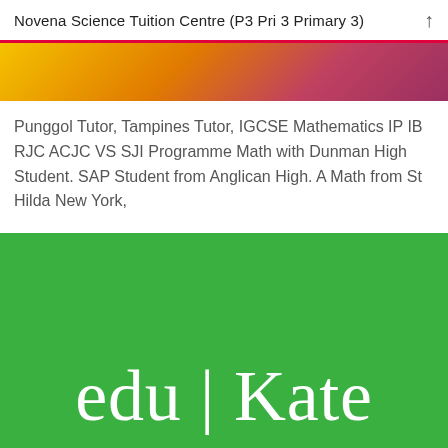Novena Science Tuition Centre (P3 Pri 3 Primary 3)
[Figure (illustration): Horizontal gradient bar transitioning from yellow on the left through orange to dark pink/magenta on the right]
Punggol Tutor, Tampines Tutor, IGCSE Mathematics IP IB RJC ACJC VS SJI Programme Math with Dunman High Student. SAP Student from Anglican High. A Math from St Hilda New York,
[Figure (logo): Green banner with white serif text reading 'edu|Kate']